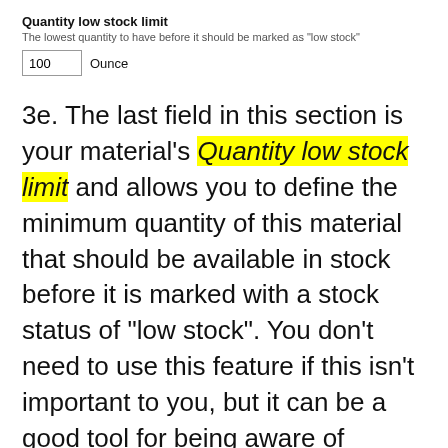Quantity low stock limit
The lowest quantity to have before it should be marked as "low stock"
100 Ounce
3e. The last field in this section is your material's Quantity low stock limit and allows you to define the minimum quantity of this material that should be available in stock before it is marked with a stock status of "low stock". You don't need to use this feature if this isn't important to you, but it can be a good tool for being aware of materials you are running low on so you can reorder before you run out completely.
Starting Adjustment